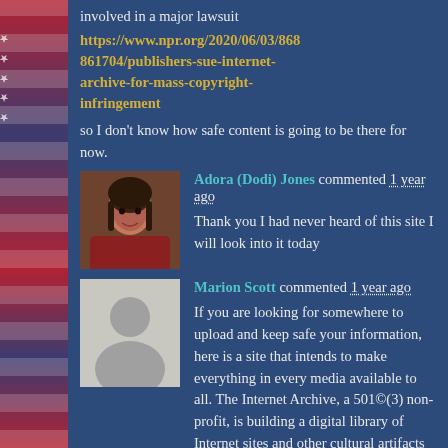involved in a major lawsuit
https://www.npr.org/2020/06/03/868861704/publishers-sue-internet-archive-for-mass-copyright-infringement
so I don't know how safe content is going to be there for now.
[Figure (photo): Profile photo of Adora (Dodi) Jones - a woman with dark hair]
Adora (Dodi) Jones commented 1 year ago
Thank you I had never heard of this site I will look into it today
[Figure (photo): Default grey silhouette avatar placeholder for Marion Scott]
Marion Scott commented 1 year ago
If you are looking for somewhere to upload and keep safe your information, here is a site that intends to make everything in every media available to all. The Internet Archive, a 501©(3) non-profit, is building a digital library of Internet sites and other cultural artifacts